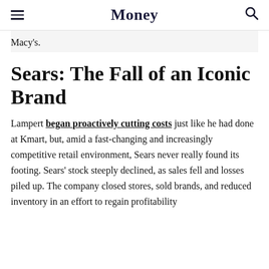Money
Macy's.
Sears: The Fall of an Iconic Brand
Lampert began proactively cutting costs just like he had done at Kmart, but, amid a fast-changing and increasingly competitive retail environment, Sears never really found its footing. Sears' stock steeply declined, as sales fell and losses piled up. The company closed stores, sold brands, and reduced inventory in an effort to regain profitability